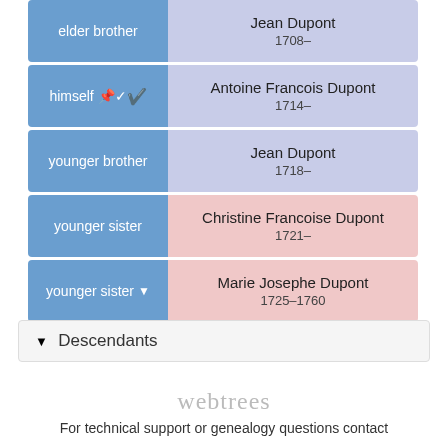| Relation | Name | Dates |
| --- | --- | --- |
| elder brother | Jean Dupont | 1708– |
| himself ✔ | Antoine Francois Dupont | 1714– |
| younger brother | Jean Dupont | 1718– |
| younger sister | Christine Francoise Dupont | 1721– |
| younger sister ▾ | Marie Josephe Dupont | 1725–1760 |
▾ Descendants
webtrees
For technical support or genealogy questions contact